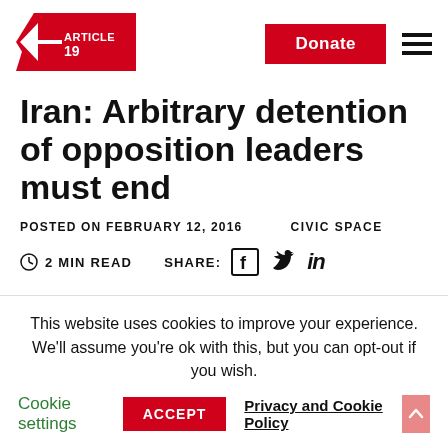[Figure (logo): ARTICLE 19 logo — red triangle with white text]
Iran: Arbitrary detention of opposition leaders must end
POSTED ON FEBRUARY 12, 2016   CIVIC SPACE
2 MIN READ   SHARE:
This website uses cookies to improve your experience. We'll assume you're ok with this, but you can opt-out if you wish.
Cookie settings   ACCEPT   Privacy and Cookie Policy